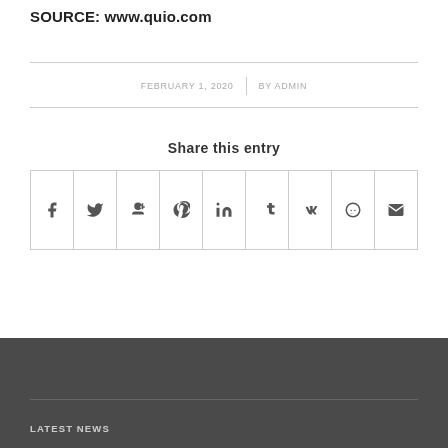SOURCE: www.quio.com
FEBRUARY 1, 2020 | BY ADMIN
Share this entry
[Figure (other): Social sharing icons row: Facebook, Twitter, Google+, Pinterest, LinkedIn, Tumblr, VK, Reddit, Email]
LATEST NEWS